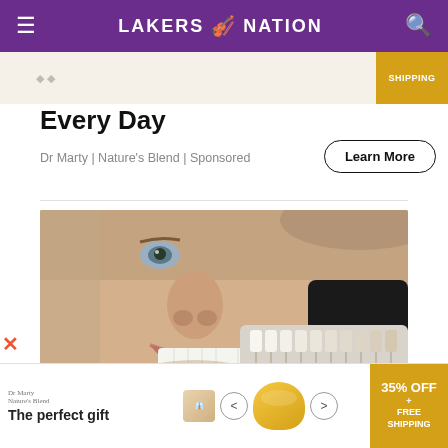LAKERS NATION
[Figure (screenshot): Partial ad strip showing product images and a yellow SHIPPING badge, partially cut off at top.]
Every Day
Dr Marty | Nature's Blend | Sponsored
[Figure (photo): Close-up photo of a smiling man at a dentist, with a tooth shade guide/palette held up near his mouth by a gloved hand.]
[Figure (screenshot): Bottom advertisement bar: 'The perfect gift' with bowl images, navigation arrows, and a yellow badge showing '35% OFF + FREE SHIPPING'.]
Learn More